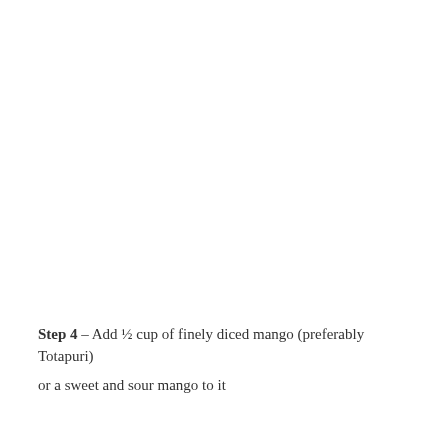Step 4 – Add ½ cup of finely diced mango (preferably Totapuri) or a sweet and sour mango to it